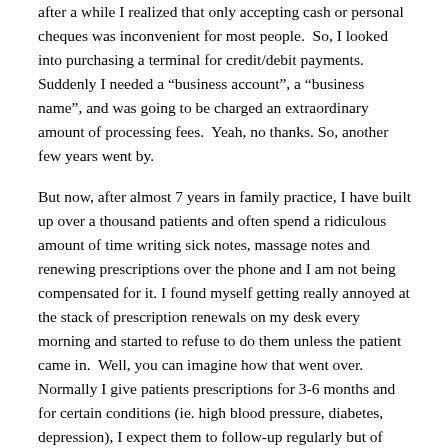after a while I realized that only accepting cash or personal cheques was inconvenient for most people.  So, I looked into purchasing a terminal for credit/debit payments. Suddenly I needed a “business account”, a “business name”, and was going to be charged an extraordinary amount of processing fees.  Yeah, no thanks. So, another few years went by.
But now, after almost 7 years in family practice, I have built up over a thousand patients and often spend a ridiculous amount of time writing sick notes, massage notes and renewing prescriptions over the phone and I am not being compensated for it. I found myself getting really annoyed at the stack of prescription renewals on my desk every morning and started to refuse to do them unless the patient came in.  Well, you can imagine how that went over. Normally I give patients prescriptions for 3-6 months and for certain conditions (ie. high blood pressure, diabetes, depression), I expect them to follow-up regularly but of course life sometimes gets in the way and patients can’t come in to see me.  Or they just get lazy and complacent and “run out” and need a re-fill immediately.  Well, sorry folks, but times are changing and that will now cost you $30.  But